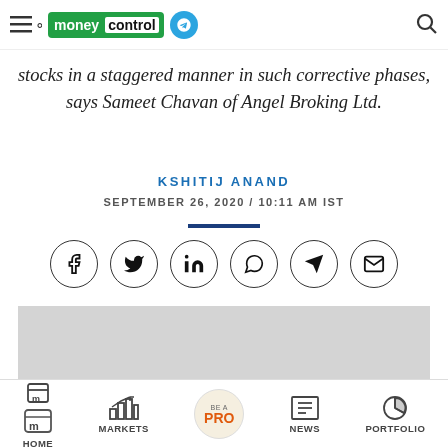moneycontrol
stocks in a staggered manner in such corrective phases, says Sameet Chavan of Angel Broking Ltd.
KSHITIJ ANAND
SEPTEMBER 26, 2020 / 10:11 AM IST
[Figure (other): Social sharing icons: Facebook, Twitter, LinkedIn, WhatsApp, Telegram, Email]
[Figure (other): Gray advertisement/image placeholder block]
HOME  MARKETS  BE A PRO  NEWS  PORTFOLIO